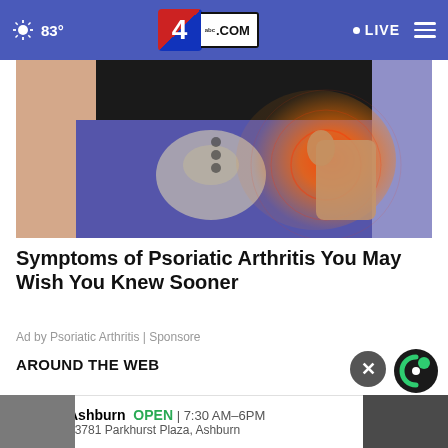83° abc4.com LIVE
[Figure (photo): Medical illustration of hip/pelvis area with inflammation highlight shown in red/orange on a person wearing purple pants]
Symptoms of Psoriatic Arthritis You May Wish You Knew Sooner
Ad by Psoriatic Arthritis | Sponsore
AROUND THE WEB
[Figure (logo): Taboola logo - circular black and green icon]
[Figure (infographic): Tire Auto store advertisement: Ashburn OPEN 7:30 AM-6PM, 43781 Parkhurst Plaza, Ashburn]